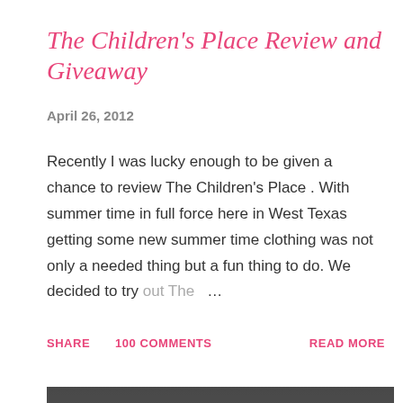The Children's Place Review and Giveaway
April 26, 2012
Recently I was lucky enough to be given a chance to review The Children's Place . With summer time in full force here in West Texas getting some new summer time clothing was not only a needed thing but a fun thing to do. We decided to try out The …
SHARE   100 COMMENTS   READ MORE
[Figure (photo): A dark photograph showing what appears to be a baking pan with some food items inside, possibly a cooked dish with floral or decorative elements visible at the bottom.]